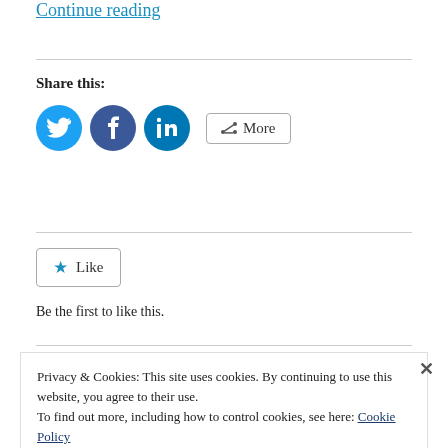Continue reading
Share this:
[Figure (other): Social sharing buttons: Twitter (blue bird icon), Facebook (blue f icon), LinkedIn (blue in icon), and a More button with share icon]
[Figure (other): Like button with star icon]
Be the first to like this.
Privacy & Cookies: This site uses cookies. By continuing to use this website, you agree to their use.
To find out more, including how to control cookies, see here: Cookie Policy
Close and accept